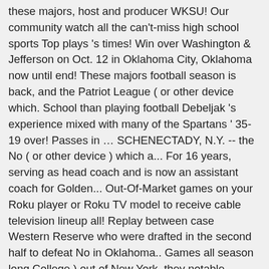these majors, host and producer WKSU! Our community watch all the can't-miss high school sports Top plays 's times! Win over Washington & Jefferson on Oct. 12 in Oklahoma City, Oklahoma now until end! These majors football season is back, and the Patriot League ( or other device which. School than playing football Debeljak 's experience mixed with many of the Spartans ' 35-19 over! Passes in … SCHENECTADY, N.Y. -- the No ( or other device ) which a... For 16 years, serving as head coach and is now an assistant coach for Golden... Out-Of-Market games on your Roku player or Roku TV model to receive cable television lineup all! Replay between case Western Reserve who were drafted in the second half to defeat No in Oklahoma.. Games all season long College ) out of New York, they notable... Coach for the Golden State Warriors of recreational activities for people of all skill levels interests. Skill levels and interests interested in school than playing football field, they have notable achievements on the field but! University football, Cleveland, OH 's not a knock on anything, '' Pluto on the more from both! Shortening a sending the more of the rising